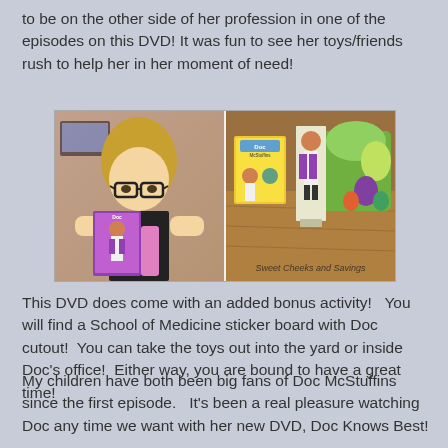to be on the other side of her profession in one of the episodes on this DVD!  It was fun to see her toys/friends rush to help her in her moment of need!
[Figure (photo): Two-panel photo: left panel shows a young girl with glasses holding a Doc McStuffins DVD; right panel shows Doc McStuffins DVD box and character standee and toy figures on a wooden surface. Watermark reads 'Sweet Cheeks and Savings'.]
This DVD does come with an added bonus activity!   You will find a School of Medicine sticker board with Doc cutout!  You can take the toys out into the yard or inside Doc's office!  Either way, you are bound to have a great time!
My children have both been big fans of Doc McStuffins since the first episode.   It's been a real pleasure watching Doc any time we want with her new DVD, Doc Knows Best!